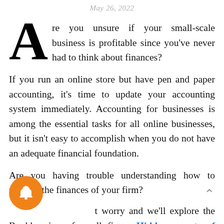May 26, 2022
Are you unsure if your small-scale business is profitable since you've never had to think about finances?
If you run an online store but have pen and paper accounting, it's time to update your accounting system immediately. Accounting for businesses is among the essential tasks for all online businesses, but it isn't easy to accomplish when you do not have an adequate financial foundation.
Are you having trouble understanding how to manage the finances of your firm?
Don't worry and we'll explore the Bookkeeping of small firms. Hidden secrets of medium Matt Oliver in detail